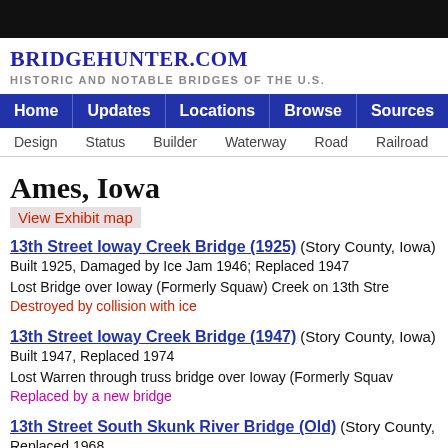BRIDGEHUNTER.COM — HISTORIC AND NOTABLE BRIDGES OF THE U.S.
Ames, Iowa
View Exhibit map
13th Street Ioway Creek Bridge (1925) (Story County, Iowa)
Built 1925, Damaged by Ice Jam 1946; Replaced 1947
Lost Bridge over Ioway (Formerly Squaw) Creek on 13th Stre…
Destroyed by collision with ice
13th Street Ioway Creek Bridge (1947) (Story County, Iowa)
Built 1947, Replaced 1974
Lost Warren through truss bridge over Ioway (Formerly Squa…
Replaced by a new bridge
13th Street South Skunk River Bridge (Old) (Story County, …)
Replaced 1968